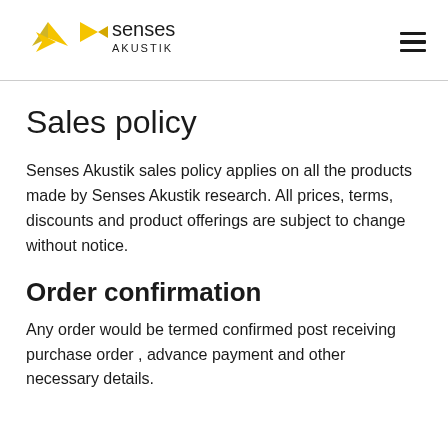senses AKUSTIK
Sales policy
Senses Akustik sales policy applies on all the products made by Senses Akustik research. All prices, terms, discounts and product offerings are subject to change without notice.
Order confirmation
Any order would be termed confirmed post receiving purchase order , advance payment and other necessary details.